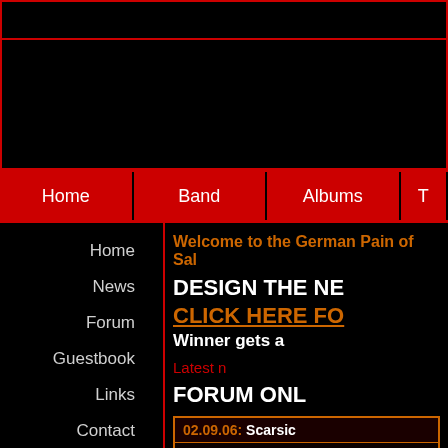[Figure (screenshot): Top banner area, black background with red border]
[Figure (screenshot): Header/logo area, black background with red border]
Home | Band | Albums | T...
Home
News
Forum
Guestbook
Links
Contact
Welcome to the German Pain of Sal...
DESIGN THE NE...
CLICK HERE FO...
Winner gets a...
Latest n...
FORUM ONL...
02.09.06: Scarsic...
A lot of fans are wondering about th... could be better than a studio...